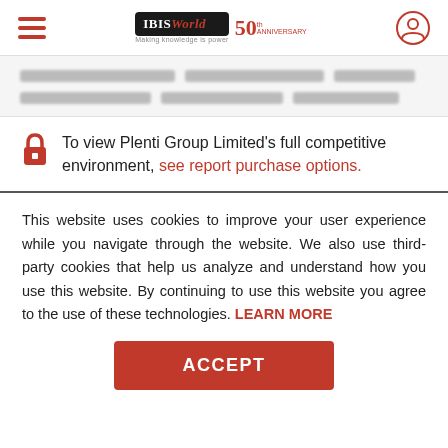IBISWorld 50th Anniversary — navigation header with hamburger menu and user icon
[Figure (other): Blurred/redacted content rows indicating locked competitive environment data]
To view Plenti Group Limited's full competitive environment, see report purchase options.
This website uses cookies to improve your user experience while you navigate through the website. We also use third-party cookies that help us analyze and understand how you use this website. By continuing to use this website you agree to the use of these technologies. LEARN MORE
ACCEPT